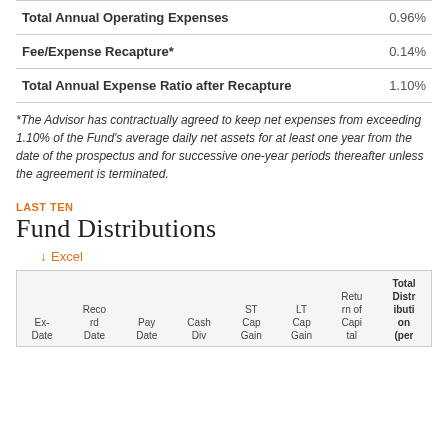|  |  |
| --- | --- |
| Total Annual Operating Expenses | 0.96% |
| Fee/Expense Recapture* | 0.14% |
| Total Annual Expense Ratio after Recapture | 1.10% |
*The Advisor has contractually agreed to keep net expenses from exceeding 1.10% of the Fund's average daily net assets for at least one year from the date of the prospectus and for successive one-year periods thereafter unless the agreement is terminated.
LAST TEN
Fund Distributions
↓ Excel
| Ex-Date | Record Date | Pay Date | Cash Div | ST Cap Gain | LT Cap Gain | Return of Capital | Total Distribution (per |
| --- | --- | --- | --- | --- | --- | --- | --- |